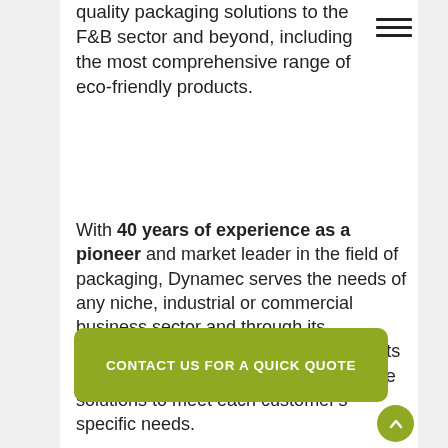quality packaging solutions to the F&B sector and beyond, including the most comprehensive range of eco-friendly products.
With 40 years of experience as a pioneer and market leader in the field of packaging, Dynamec serves the needs of any niche, industrial or commercial business sector and through its comprehensive range of quality products and services offers optimum tailor-made solutions to meet each customer's specific needs.
CONTACT US FOR A QUICK QUOTE